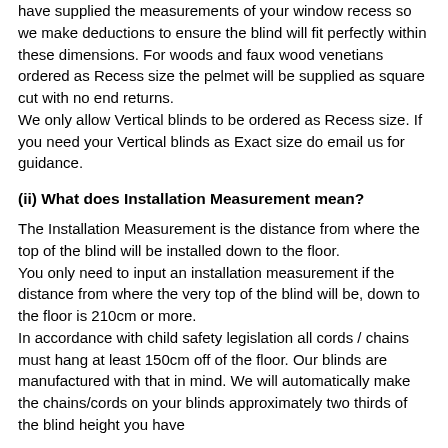have supplied the measurements of your window recess so we make deductions to ensure the blind will fit perfectly within these dimensions. For woods and faux wood venetians ordered as Recess size the pelmet will be supplied as square cut with no end returns.
We only allow Vertical blinds to be ordered as Recess size. If you need your Vertical blinds as Exact size do email us for guidance.
(ii) What does Installation Measurement mean?
The Installation Measurement is the distance from where the top of the blind will be installed down to the floor.
You only need to input an installation measurement if the distance from where the very top of the blind will be, down to the floor is 210cm or more.
In accordance with child safety legislation all cords / chains must hang at least 150cm off of the floor. Our blinds are manufactured with that in mind. We will automatically make the chains/cords on your blinds approximately two thirds of the blind height you have